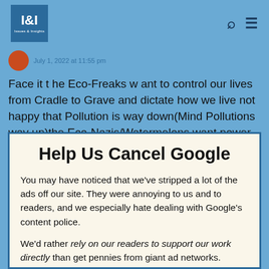I&I Issues & Insights
Face it t he Eco-Freaks w ant to control our lives from Cradle to Grave and dictate how we live not happy that Pollution is way down(Mind Pollutions way up)the Eco-Nazis/Watermelons want power and control
Help Us Cancel Google
You may have noticed that we've stripped a lot of the ads off our site. They were annoying to us and to readers, and we especially hate dealing with Google's content police.
We'd rather rely on our readers to support our work directly than get pennies from giant ad networks.
We won't charge you to access our content, but you can help us keep this site going with a donation.